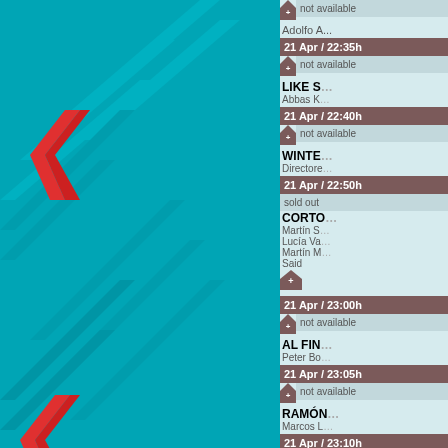[Figure (illustration): Teal/cyan left panel with diagonal striped pattern in lighter teal and red accent chevrons]
21 Apr / 22:35h | not available | LIKE S... | Abbas K...
21 Apr / 22:40h | not available | WINTER... | Director...
21 Apr / 22:50h | sold out | CORTO... | Martín S... Lucía Va... Martín M... Said
21 Apr / 23:00h | not available | AL FIN... | Peter Bo...
21 Apr / 23:05h | not available | RAMÓN... | Marcos L...
21 Apr / 23:10h | sold out | AU BO... | Agnès Ja...
21 Apr / 23:20h | sold out | ACT OF... SHOP S... AND RI... INDEPE... | Mitch Je...
21 Apr / 23:30h | sold out | CHRON... FAMIL...